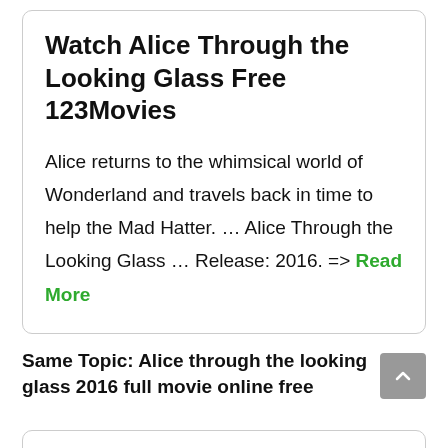Watch Alice Through the Looking Glass Free 123Movies
Alice returns to the whimsical world of Wonderland and travels back in time to help the Mad Hatter. … Alice Through the Looking Glass … Release: 2016. => Read More
Same Topic: Alice through the looking glass 2016 full movie online free